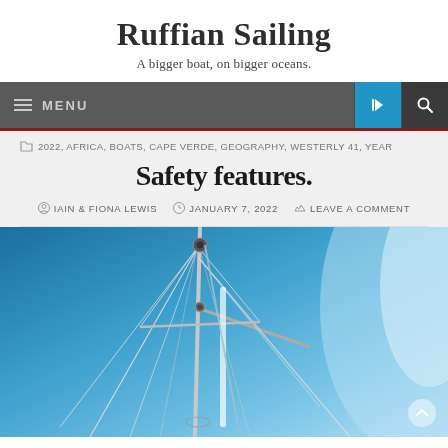Ruffian Sailing
A bigger boat, on bigger oceans.
MENU
2022, AFRICA, BOATS, CAPE VERDE, GEOGRAPHY, WESTERLY 41, YEAR
Safety features.
IAIN & FIONA LEWIS  JANUARY 7, 2022  LEAVE A COMMENT
[Figure (photo): Looking up at a sailboat mast from below against a blue sky, with rigging, shrouds, and sails visible. Water or a sail edge is visible to the right.]